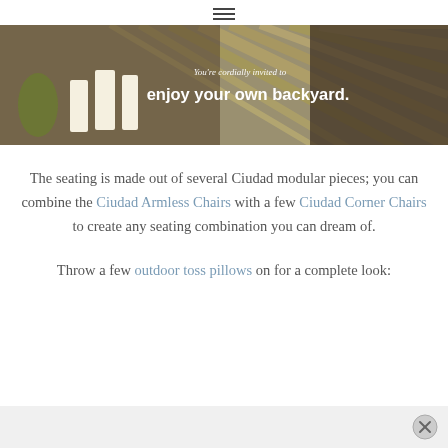hamburger menu icon
[Figure (photo): Banner image of outdoor backyard furniture with candles and wicker seating, text overlay reading "You're cordially invited to enjoy your own backyard."]
The seating is made out of several Ciudad modular pieces; you can combine the Ciudad Armless Chairs with a few Ciudad Corner Chairs to create any seating combination you can dream of.
Throw a few outdoor toss pillows on for a complete look: